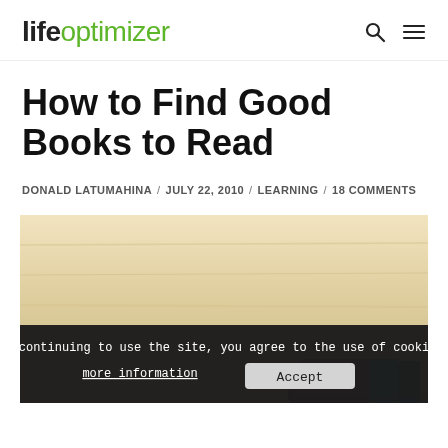lifeoptimizer
How to Find Good Books to Read
DONALD LATUMAHINA / JULY 22, 2010 / LEARNING / 18 COMMENTS
[Figure (photo): Photo of books stacked on a wooden table surface, with colorful book spines visible at the bottom. A dark cookie consent banner overlays the bottom portion of the image.]
By continuing to use the site, you agree to the use of cookies.
more information   Accept